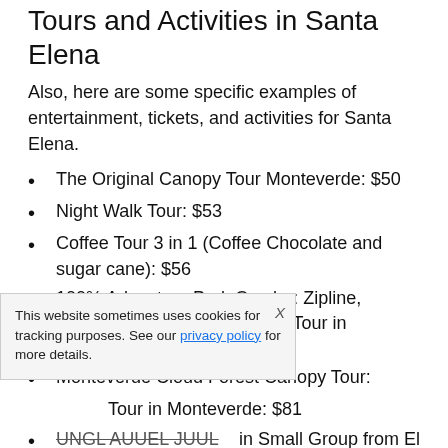Tours and Activities in Santa Elena
Also, here are some specific examples of entertainment, tickets, and activities for Santa Elena.
The Original Canopy Tour Monteverde: $50
Night Walk Tour: $53
Coffee Tour 3 in 1 (Coffee Chocolate and sugar cane): $56
100% Adventure Park Combo: Zipline, Superman, and Mega Tarzan Tour in Monteverde: $58
Monteverde Cloud Forest Canopy Tour: [partially obscured]
Tour in Monteverde: $81
UNGL AUUEL JUUL in Small Group from El